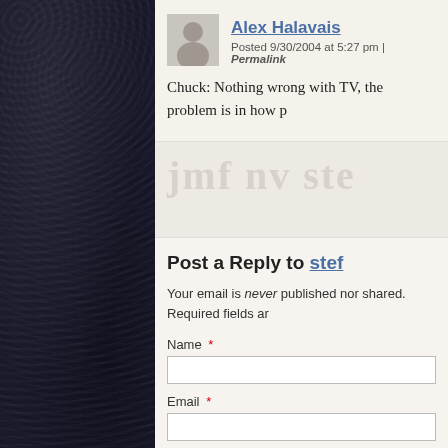Alex Halavais — Posted 9/30/2004 at 5:27 pm | Permalink
Chuck: Nothing wrong with TV, the problem is in how p
Post a Reply to stef
Your email is never published nor shared. Required fields are
Name *
Email *
Website